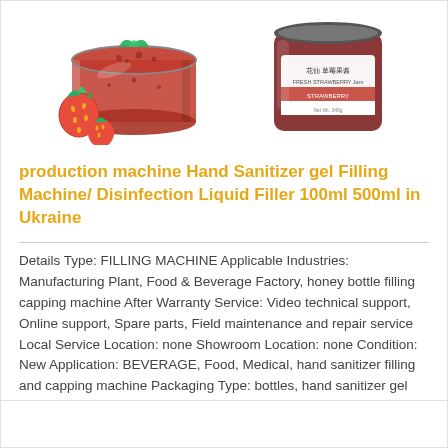[Figure (photo): Product listing image showing two strawberry jam jars — one open glass jar with fresh strawberries beside it on the left, and one sealed jar with a label on the right.]
production machine Hand Sanitizer gel Filling Machine/ Disinfection Liquid Filler 100ml 500ml in Ukraine
Details Type: FILLING MACHINE Applicable Industries: Manufacturing Plant, Food & Beverage Factory, honey bottle filling capping machine After Warranty Service: Video technical support, Online support, Spare parts, Field maintenance and repair service Local Service Location: none Showroom Location: none Condition: New Application: BEVERAGE, Food, Medical, hand sanitizer filling and capping machine Packaging Type: bottles, hand sanitizer gel filling Production line ...
Read More